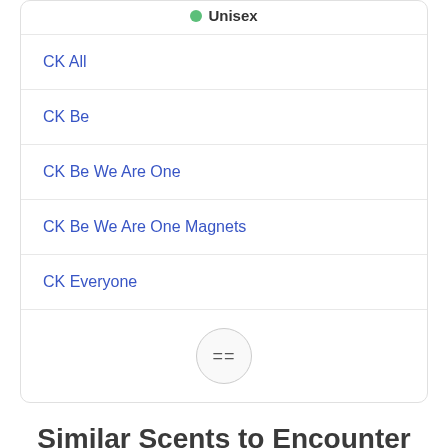Unisex
CK All
CK Be
CK Be We Are One
CK Be We Are One Magnets
CK Everyone
Similar Scents to Encounter Fresh